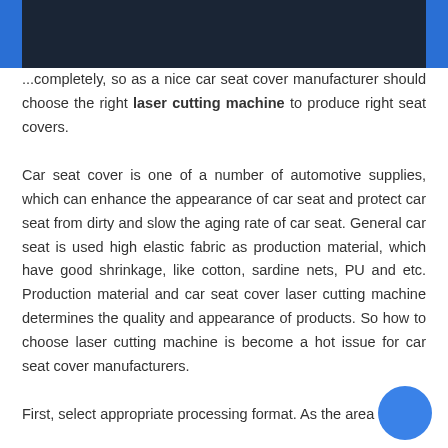...completely, so as a nice car seat cover manufacturer should choose the right laser cutting machine to produce right seat covers.
Car seat cover is one of a number of automotive supplies, which can enhance the appearance of car seat and protect car seat from dirty and slow the aging rate of car seat. General car seat is used high elastic fabric as production material, which have good shrinkage, like cotton, sardine nets, PU and etc. Production material and car seat cover laser cutting machine determines the quality and appearance of products. So how to choose laser cutting machine is become a hot issue for car seat cover manufacturers.
First, select appropriate processing format. As the area of